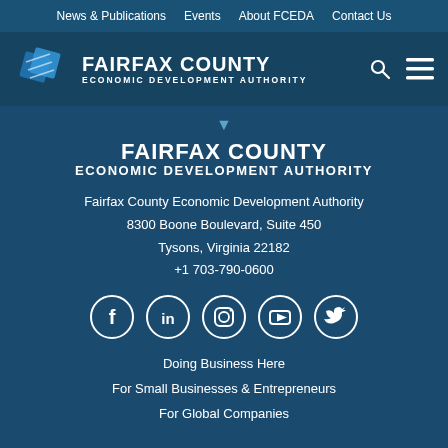News & Publications   Events   About FCEDA   Contact Us
[Figure (logo): Fairfax County Economic Development Authority logo with blue diamond shape and white text]
FAIRFAX COUNTY
ECONOMIC DEVELOPMENT AUTHORITY
Fairfax County Economic Development Authority
8300 Boone Boulevard, Suite 450
Tysons, Virginia 22182
+1 703-790-0600
[Figure (infographic): Social media icons: Facebook, LinkedIn, Instagram, YouTube, Twitter]
Doing Business Here
For Small Businesses & Entrepreneurs
For Global Companies